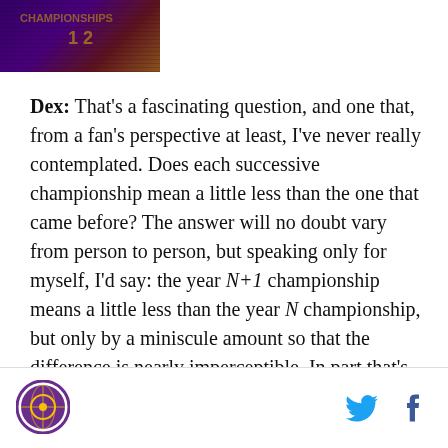[Figure (photo): Cropped image showing what appears to be a sports celebration scene with purple and gold colors, partially visible at top of page]
Dex: That's a fascinating question, and one that, from a fan's perspective at least, I've never really contemplated. Does each successive championship mean a little less than the one that came before? The answer will no doubt vary from person to person, but speaking only for myself, I'd say: the year N+1 championship means a little less than the year N championship, but only by a miniscule amount so that the difference is nearly imperceptible. In part that's because I'm incredibly greedy. I want a new banner every year, and I'm hard-wired to be emotionally invested in the drive for it. But in part, it's also because
[Figure (logo): Circular logo with purple border, possibly a sports team or website logo]
[Figure (logo): Twitter bird icon in blue]
[Figure (logo): Facebook f icon in dark blue]